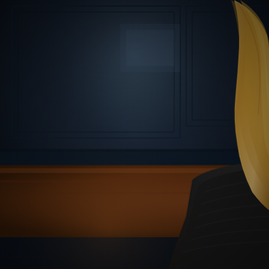[Figure (photo): Interior restaurant scene. Dark navy/black paneled walls with booth seating upholstered in warm brown/tan leather. A round wooden dining table set with white plates, glassware, and a small white vase with greenery and flowers. In the foreground right, a blonde woman in a dark black top is partially visible from behind. Another table in the lower foreground with a white plate and glasses is also visible. Warm, moody atmosphere with dark tones.]